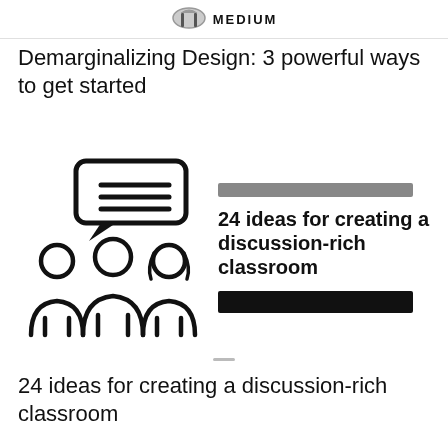MEDIUM
Demarginalizing Design: 3 powerful ways to get started
[Figure (illustration): Icon of three people with a speech bubble containing horizontal lines above them, representing discussion or communication. Black outline style.]
24 ideas for creating a discussion-rich classroom
24 ideas for creating a discussion-rich classroom